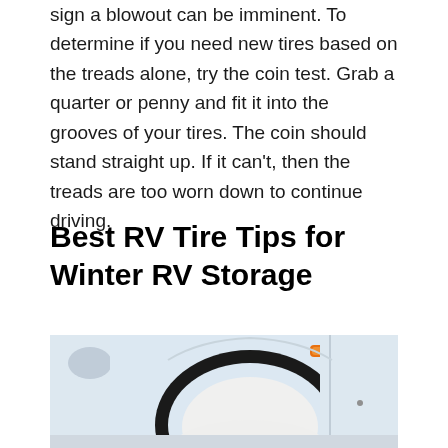sign a blowout can be imminent. To determine if you need new tires based on the treads alone, try the coin test. Grab a quarter or penny and fit it into the grooves of your tires. The coin should stand straight up. If it can't, then the treads are too worn down to continue driving.
Best RV Tire Tips for Winter RV Storage
[Figure (photo): Photo of a white RV with a tire cover (white fabric) over the wheel, showing the wheel well arch with a black rubber surround, and an orange reflector visible near the top right. Another portion of white RV body visible on the right side with a vertical panel line.]